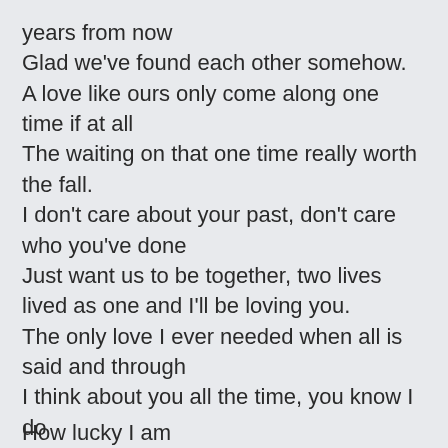years from now
Glad we've found each other somehow.
A love like ours only come along one time if at all
The waiting on that one time really worth the fall.
I don't care about your past, don't care who you've done
Just want us to be together, two lives lived as one and I'll be loving you.
The only love I ever needed when all is said and through
I think about you all the time, you know I do
How lucky I am
How lucky I am
How lucky I am